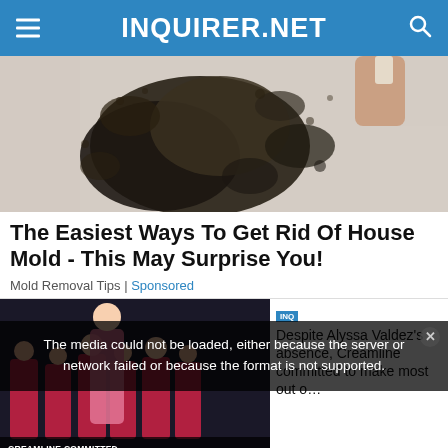INQUIRER.NET
[Figure (photo): Close-up photo of black mold growing on a wall, with a hand holding a tool or cloth scraping it off. The mold appears dark and widespread against a light beige surface.]
The Easiest Ways To Get Rid Of House Mold - This May Surprise You!
Mold Removal Tips | Sponsored
[Figure (screenshot): Bottom section showing a video player with a media error overlay reading 'The media could not be loaded, either because the server or network failed or because the format is not supported.' with a dark background, a volleyball team thumbnail on the left with text 'CREAMLINE COMMITTED TO MAKE MOST OUT OF AVC STINT', and a sidebar article about 'Despite Alyssa Valdez's absence, Creamline committed to make most out o...' with an X close button at the bottom.]